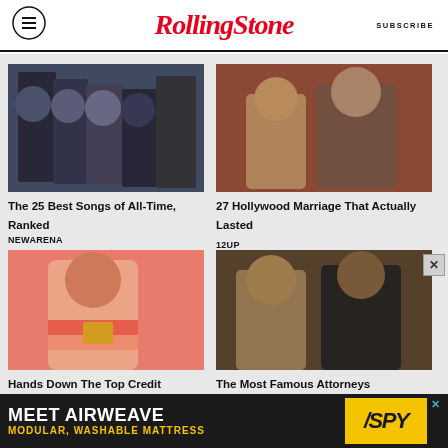RollingStone  SUBSCRIBE
[Figure (photo): Four young men band photo in dark clothing, vintage style]
The 25 Best Songs of All-Time, Ranked
NEWARENA
[Figure (photo): Couple on red carpet, woman in black dress and older man in suit]
27 Hollywood Marriage That Actually Lasted
12UP
[Figure (photo): Young woman in pink/orange striped top holding a card]
Hands Down The Top Credit
[Figure (photo): Two people posing, man and woman at formal event]
The Most Famous Attorneys
[Figure (screenshot): MEET AIRWEAVE MODULAR, WASHABLE MATTRESS advertisement with SPY logo]